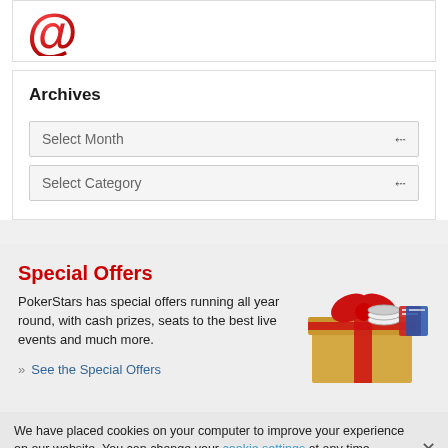[Figure (logo): Red @ symbol logo (at sign, 3D rendered in red)]
Archives
Select Month
Select Category
Special Offers
PokerStars has special offers running all year round, with cash prizes, seats to the best live events and much more.
» See the Special Offers
[Figure (photo): Gift box with red ribbon bow, poker chips, and ticket stubs inside]
We have placed cookies on your computer to improve your experience on our website. You can change your cookie settings at any time. Otherwise, we'll assume you're OK to continue.